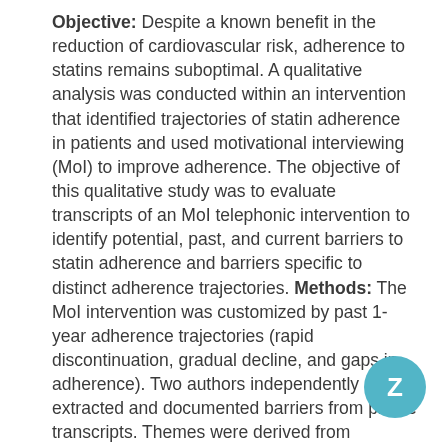Objective: Despite a known benefit in the reduction of cardiovascular risk, adherence to statins remains suboptimal. A qualitative analysis was conducted within an intervention that identified trajectories of statin adherence in patients and used motivational interviewing (MoI) to improve adherence. The objective of this qualitative study was to evaluate transcripts of an MoI telephonic intervention to identify potential, past, and current barriers to statin adherence and barriers specific to distinct adherence trajectories. Methods: The MoI intervention was customized by past 1-year adherence trajectories (rapid discontinuation, gradual decline, and gaps in adherence). Two authors independently extracted and documented barriers from phone transcripts. Themes were derived from literature a priori and by cataloging recurring themes from the transcripts. Results: The transcripts of calls made to 157 patients were reviewed of which 25.2% did not communicate a specific adherence barrier despite falling into a low-adherence trajectory when examining refill data. The most commonly reported barriers to statin adherence included adverse effects (40.1%), forgetfulness (30.0%), and lack of skills or knowledge pertaining to statins (25%). More patients in the rapid discontinuation group perceived medication as unnecessary, whereas more patients in the gaps in adherence group reported a communication barrier with their health care provider. Several barriers among